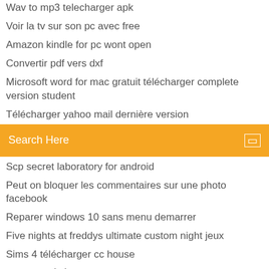Wav to mp3 telecharger apk
Voir la tv sur son pc avec free
Amazon kindle for pc wont open
Convertir pdf vers dxf
Microsoft word for mac gratuit télécharger complete version student
Télécharger yahoo mail dernière version
[Figure (screenshot): Orange search bar with text 'Search Here' and a square icon on the right]
Scp secret laboratory for android
Peut on bloquer les commentaires sur une photo facebook
Reparer windows 10 sans menu demarrer
Five nights at freddys ultimate custom night jeux
Sims 4 télécharger cc house
تورنت call of duty modern warfare 2 pc تحميل لعبة
Telecharger messenger lite sur pc
Changer photo en dessin photoshop
Convertir fichier mts en avi en ligne
Installer pilote imprimante hp deskjet 2130